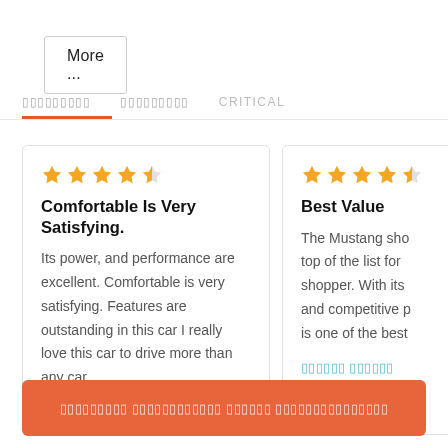More ...
▯▯▯▯▯▯▯▯▯  ▯▯▯▯▯▯▯▯▯  CRITICAL
Comfortable Is Very Satisfying.

Its power, and performance are excellent. Comfortable is very satisfying. Features are outstanding in this car I really love this car to drive more than any car...
Best Value

The Mustang sho... top of the list for ... shopper. With its ... and competitive p... is one of the best...
▯▯▯▯▯▯ ▯▯▯▯▯▯
▯▯▯▯▯▯▯▯▯ ▯▯▯▯▯▯▯▯▯▯▯▯ ▯▯▯▯▯▯ ▯▯▯▯▯▯▯▯▯▯▯▯▯▯▯